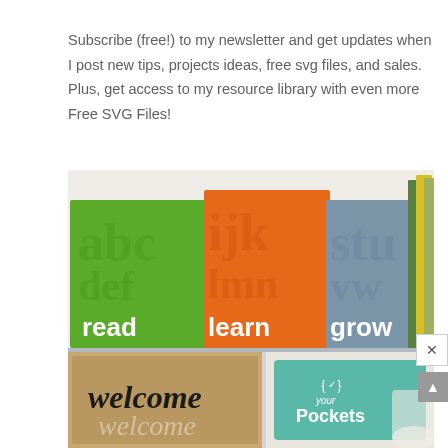Subscribe (free!) to my newsletter and get updates when I post new tips, projects ideas, free svg files, and sales.  Plus, get access to my resource library with even more Free SVG Files!
[Figure (photo): Photo collage of craft projects including colorful boxes with letters reading 'read learn grow' on top, and a welcome doormat and teal sign with '{checkmark} your Pockets' on the bottom.]